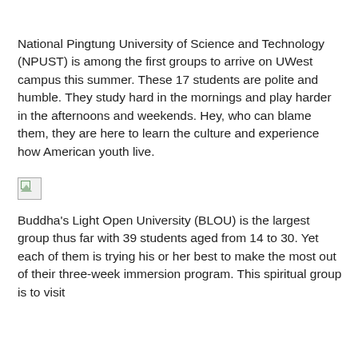National Pingtung University of Science and Technology (NPUST) is among the first groups to arrive on UWest campus this summer. These 17 students are polite and humble. They study hard in the mornings and play harder in the afternoons and weekends. Hey, who can blame them, they are here to learn the culture and experience how American youth live.
[Figure (photo): Broken/placeholder image icon]
Buddha's Light Open University (BLOU) is the largest group thus far with 39 students aged from 14 to 30. Yet each of them is trying his or her best to make the most out of their three-week immersion program. This spiritual group is to visit